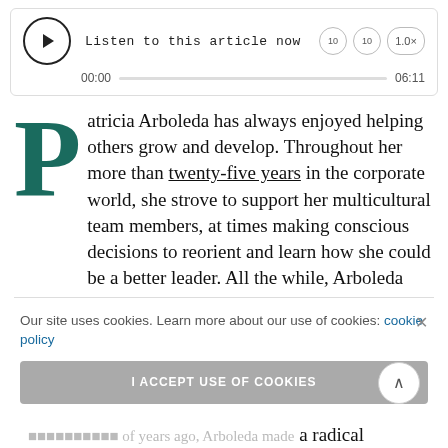[Figure (screenshot): Audio player widget with play button, 'Listen to this article now' label, speed controls (10, 10, 1.0x), progress bar showing 00:00 to 06:11]
Patricia Arboleda has always enjoyed helping others grow and develop. Throughout her more than twenty-five years in the corporate world, she strove to support her multicultural team members, at times making conscious decisions to reorient and learn how she could be a better leader. All the while, Arboleda ...cutive ladder ...e of all the ...cing her ...r worth. But
[Figure (screenshot): Cookie consent banner: 'Our site uses cookies. Learn more about our use of cookies: cookie policy' with 'I ACCEPT USE OF COOKIES' button and X close button]
...people of years ago, Arboleda made a radical